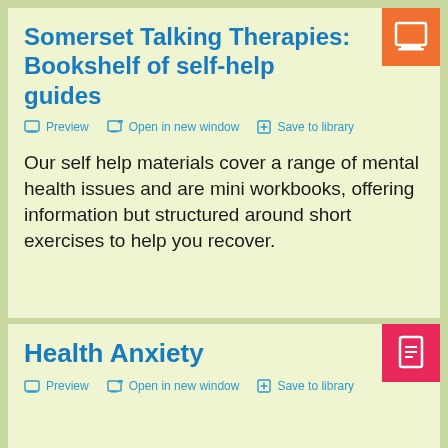Somerset Talking Therapies: Bookshelf of self-help guides
Preview  Open in new window  Save to library
Our self help materials cover a range of mental health issues and are mini workbooks, offering information but structured around short exercises to help you recover.
Health Anxiety
Preview  Open in new window  Save to library
People with Health Anxiety have an obsessive preoccupation with being